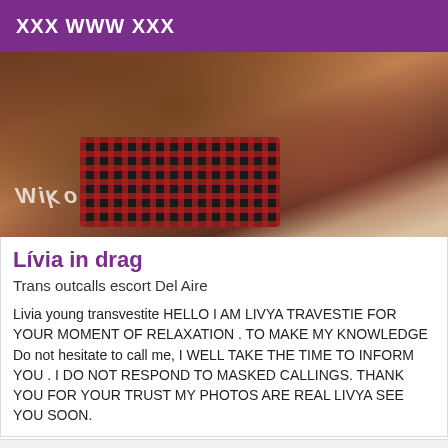XXX WWW XXX
[Figure (photo): Photo of a young transvestite person wearing a plaid/checkered outfit, shown from shoulders up, with watermark text 'MIKO' mirrored]
Lívia in drag
Trans outcalls escort Del Aire
Livia young transvestite HELLO I AM LIVYA TRAVESTIE FOR YOUR MOMENT OF RELAXATION . TO MAKE MY KNOWLEDGE Do not hesitate to call me, I WELL TAKE THE TIME TO INFORM YOU . I DO NOT RESPOND TO MASKED CALLINGS. THANK YOU FOR YOUR TRUST MY PHOTOS ARE REAL LIVYA SEE YOU SOON.